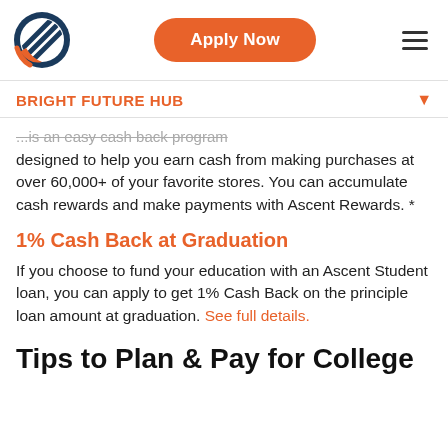[Figure (logo): Ascent circular logo with diagonal lines in dark blue and orange]
Apply Now
BRIGHT FUTURE HUB
...is an easy cash back program designed to help you earn cash from making purchases at over 60,000+ of your favorite stores. You can accumulate cash rewards and make payments with Ascent Rewards. *
1% Cash Back at Graduation
If you choose to fund your education with an Ascent Student loan, you can apply to get 1% Cash Back on the principle loan amount at graduation. See full details.
Tips to Plan & Pay for College